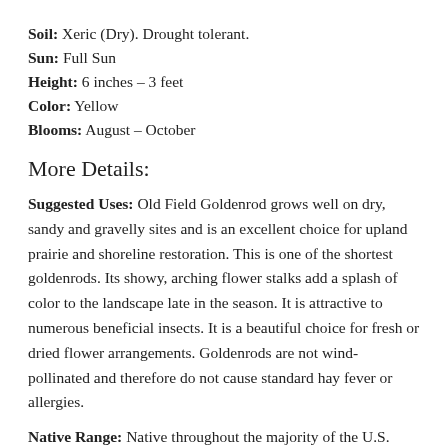Soil: Xeric (Dry). Drought tolerant.
Sun: Full Sun
Height: 6 inches – 3 feet
Color: Yellow
Blooms: August – October
More Details:
Suggested Uses: Old Field Goldenrod grows well on dry, sandy and gravelly sites and is an excellent choice for upland prairie and shoreline restoration. This is one of the shortest goldenrods. Its showy, arching flower stalks add a splash of color to the landscape late in the season. It is attractive to numerous beneficial insects. It is a beautiful choice for fresh or dried flower arrangements. Goldenrods are not wind-pollinated and therefore do not cause standard hay fever or allergies.
Native Range: Native throughout the majority of the U.S.